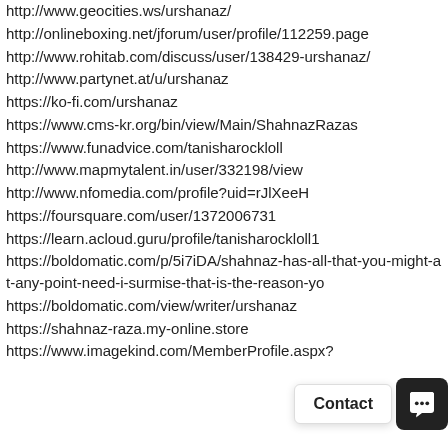http://www.geocities.ws/urshanaz/
http://onlineboxing.net/jforum/user/profile/112259.page
http://www.rohitab.com/discuss/user/138429-urshanaz/
http://www.partynet.at/u/urshanaz
https://ko-fi.com/urshanaz
https://www.cms-kr.org/bin/view/Main/ShahnazRazas
https://www.funadvice.com/tanisharockloll
http://www.mapmytalent.in/user/332198/view
http://www.nfomedia.com/profile?uid=rJlXeeH
https://foursquare.com/user/1372006731
https://learn.acloud.guru/profile/tanisharockloll1
https://boldomatic.com/p/5i7iDA/shahnaz-has-all-that-you-might-at-any-point-need-i-surmise-that-is-the-reason-yo
https://boldomatic.com/view/writer/urshanaz
https://shahnaz-raza.my-online.store
https://www.imagekind.com/MemberProfile.aspx?